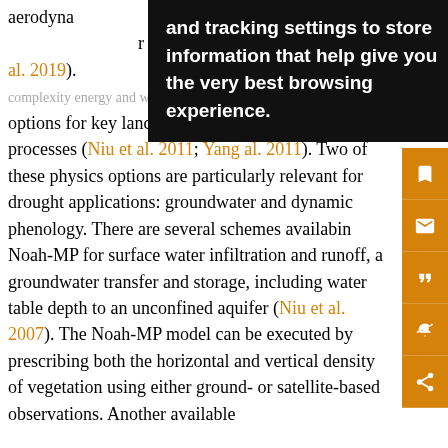aerodynamic … (ation) and surface … r scheme (t… …an et al. 2019). … y Noah-MP LSM, a medium complexity energy and water balance model, uses multiple options for key land–atmosphere interaction processes (Niu et al. 2011; Yang et al. 2011). Two of these physics options are particularly relevant for drought applications: groundwater and dynamic phenology. There are several schemes available in Noah-MP for surface water infiltration and runoff, and groundwater transfer and storage, including water table depth to an unconfined aquifer (Niu et al. 2007). The Noah-MP model can be executed by prescribing both the horizontal and vertical density of vegetation using either ground- or satellite-based observations. Another available
and tracking settings to store information that help give you the very best browsing experience.